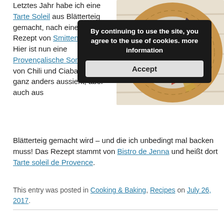Letztes Jahr habe ich eine Tarte Soleil aus Blätterteig gemacht, nach einem Rezept von Smitten Kitchen. Hier ist nun eine Provençalische Sonnentarte von Chili und Ciabatta, die ganz anders aussieht, aber auch aus Blätterteig gemacht wird – und die ich unbedingt mal backen muss! Das Rezept stammt von Bistro de Jenna und heißt dort Tarte soleil de Provence.
[Figure (photo): A ring-shaped savory tarte soleil made of puff pastry filled with colorful vegetables (zucchini, peppers, eggplant, tomatoes, herbs) on a white wooden surface, with a cookie consent banner overlay]
This entry was posted in Cooking & Baking, Recipes on July 26, 2017.